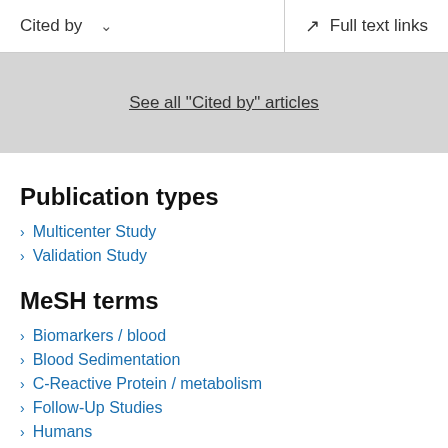Cited by    Full text links
See all "Cited by" articles
Publication types
Multicenter Study
Validation Study
MeSH terms
Biomarkers / blood
Blood Sedimentation
C-Reactive Protein / metabolism
Follow-Up Studies
Humans